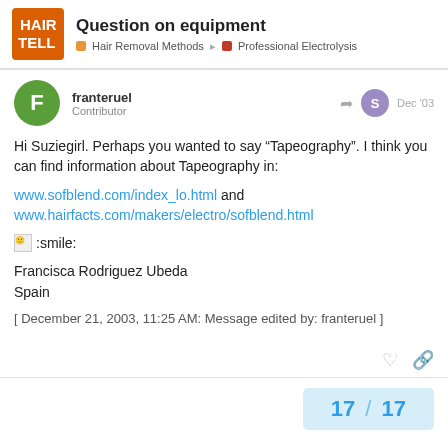Question on equipment | Hair Removal Methods > Professional Electrolysis
franteruel Contributor Dec '03
Hi Suziegirl. Perhaps you wanted to say “Tapeography”. I think you can find information about Tapeography in:

www.sofblend.com/index_lo.html and www.hairfacts.com/makers/electro/sofblend.html
:smile:

Francisca Rodriguez Ubeda
Spain

[ December 21, 2003, 11:25 AM: Message edited by: franteruel ]